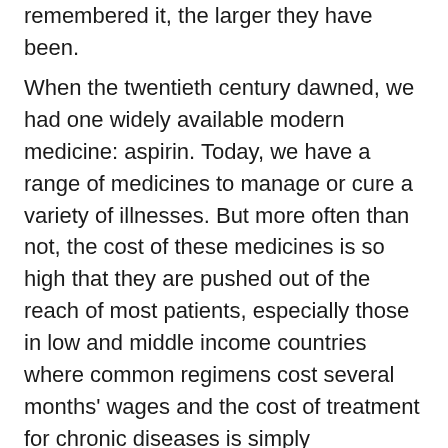remembered it, the larger they have been.
When the twentieth century dawned, we had one widely available modern medicine: aspirin. Today, we have a range of medicines to manage or cure a variety of illnesses. But more often than not, the cost of these medicines is so high that they are pushed out of the reach of most patients, especially those in low and middle income countries where common regimens cost several months' wages and the cost of treatment for chronic diseases is simply unaffordable. In most developing economies, drugs account for 20-60% of healthcare costs, and 50-90% of these costs